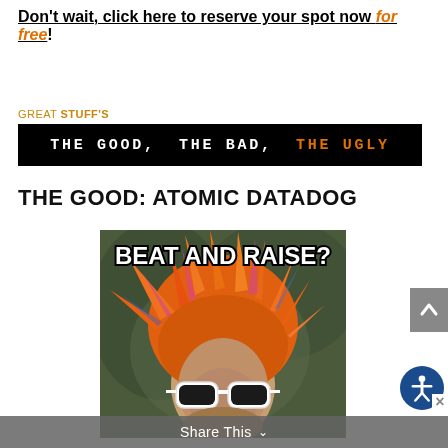Don't wait, click here to reserve your spot now for free!
GREAT STUFF'S
[Figure (illustration): Black banner with monospaced text reading: THE GOOD, THE BAD, THE UGLY — where THE UGLY is in orange and the rest is white]
THE GOOD: ATOMIC DATADOG
[Figure (photo): Meme image of a person with wild colorful spiked hair (orange, pink, blue) wearing white sunglasses. White bold text overlay reads: BEAT AND RAISE?]
Share This